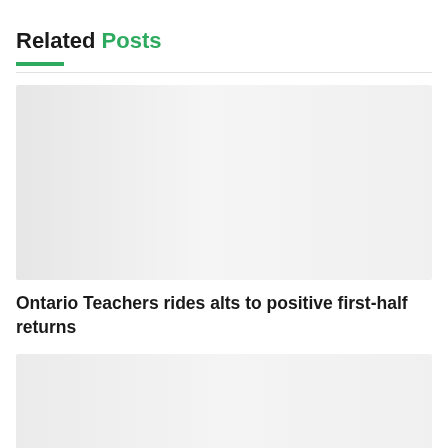Related Posts
[Figure (photo): Placeholder image block for a related post thumbnail — light gray rectangle]
Ontario Teachers rides alts to positive first-half returns
[Figure (photo): Placeholder image block for a second related post thumbnail — light gray rectangle, partially visible]